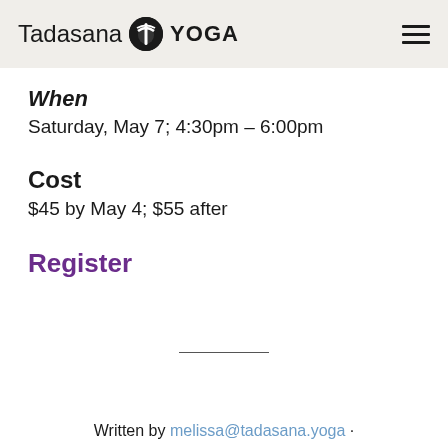Tadasana YOGA
When
Saturday, May 7; 4:30pm – 6:00pm
Cost
$45 by May 4; $55 after
Register
Written by melissa@tadasana.yoga ·